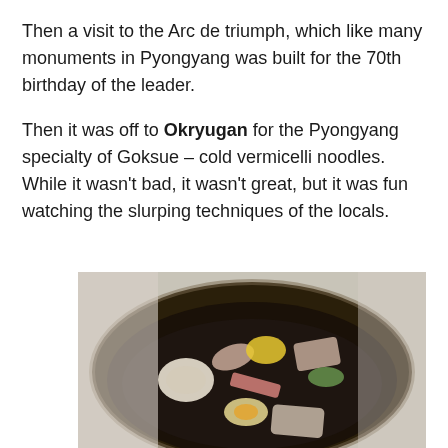Then a visit to the Arc de triumph, which like many monuments in Pyongyang was built for the 70th birthday of the leader.
Then it was off to Okryugan for the Pyongyang specialty of Goksue – cold vermicelli noodles. While it wasn't bad, it wasn't great, but it was fun watching the slurping techniques of the locals.
[Figure (photo): A bowl of Goksue (cold vermicelli noodles) from Okryugan restaurant in Pyongyang, topped with various garnishes including sliced meat, egg, cucumber, and yellow egg shreds in a dark broth.]